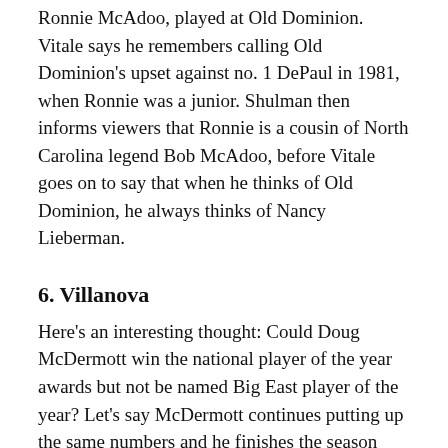Ronnie McAdoo, played at Old Dominion. Vitale says he remembers calling Old Dominion's upset against no. 1 DePaul in 1981, when Ronnie was a junior. Shulman then informs viewers that Ronnie is a cousin of North Carolina legend Bob McAdoo, before Vitale goes on to say that when he thinks of Old Dominion, he always thinks of Nancy Lieberman.
6. Villanova
Here's an interesting thought: Could Doug McDermott win the national player of the year awards but not be named Big East player of the year? Let's say McDermott continues putting up the same numbers and he finishes the season averaging 25 points, seven rebounds, and two assists. But let's also say Creighton loses both its games against Villanova by double figures, drops a few other conference games, and finishes four games behind the Wildcats in the